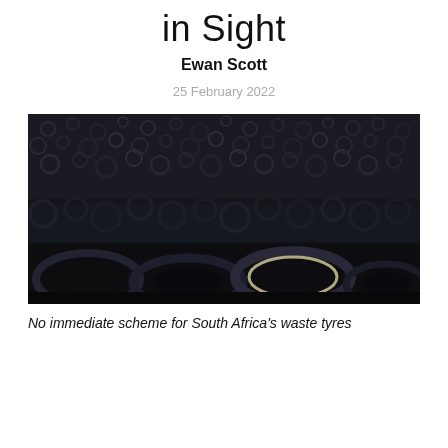in Sight
Ewan Scott
25 February 2022
[Figure (photo): Large pile of discarded waste tyres, photographed from ground level showing hundreds of black rubber tyres stacked and scattered in a dark, moody setting.]
No immediate scheme for South Africa's waste tyres